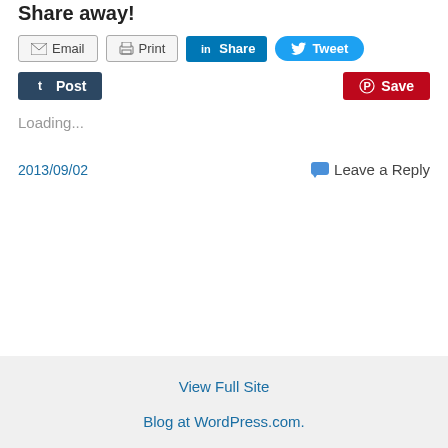Share away!
Email  Print  Share  Tweet
Post  Save
Loading...
2013/09/02   Leave a Reply
View Full Site
Blog at WordPress.com.